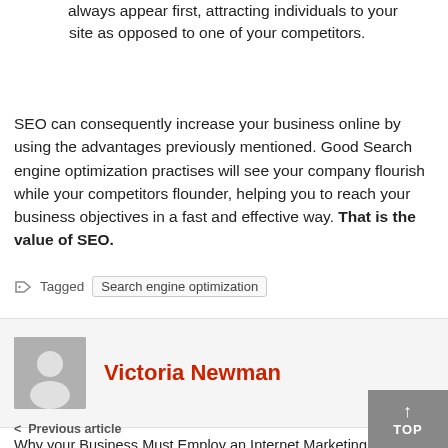always appear first, attracting individuals to your site as opposed to one of your competitors.
SEO can consequently increase your business online by using the advantages previously mentioned. Good Search engine optimization practises will see your company flourish while your competitors flounder, helping you to reach your business objectives in a fast and effective way. That is the value of SEO.
Tagged  Search engine optimization
Victoria Newman
< Previous article
Why your Business Must Employ an Internet Marketing Firm